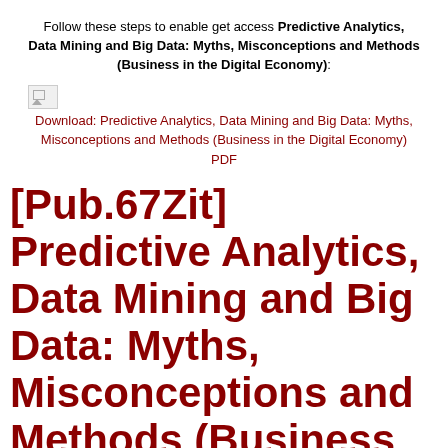Follow these steps to enable get access Predictive Analytics, Data Mining and Big Data: Myths, Misconceptions and Methods (Business in the Digital Economy):
[Figure (illustration): Broken image placeholder icon]
Download: Predictive Analytics, Data Mining and Big Data: Myths, Misconceptions and Methods (Business in the Digital Economy) PDF
[Pub.67Zit] Predictive Analytics, Data Mining and Big Data: Myths, Misconceptions and Methods (Business in the Digital Economy) PDF | by S. Finlay